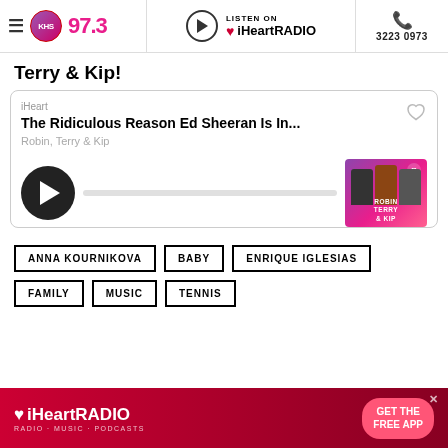KHS 97.3 | LISTEN ON iHeartRADIO | 3223 0973
Terry & Kip!
iHeart
The Ridiculous Reason Ed Sheeran Is In...
Robin, Terry & Kip
[Figure (screenshot): Podcast player card with play button, progress bar, and podcast thumbnail showing Robin Terry & Kip]
ANNA KOURNIKOVA
BABY
ENRIQUE IGLESIAS
FAMILY
MUSIC
TENNIS
[Figure (screenshot): iHeartRADIO advertisement banner with GET THE FREE APP button]